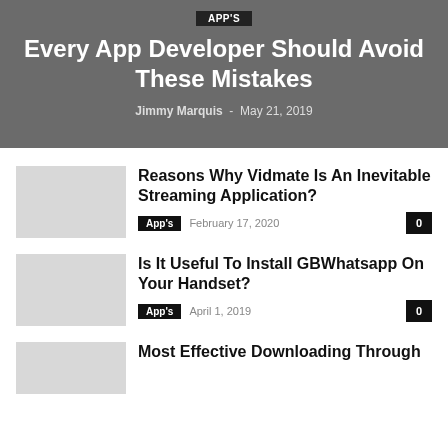APP'S
Every App Developer Should Avoid These Mistakes
Jimmy Marquis - May 21, 2019
Reasons Why Vidmate Is An Inevitable Streaming Application?
App's  February 17, 2020  0
Is It Useful To Install GBWhatsapp On Your Handset?
App's  April 1, 2019  0
Most Effective Downloading Through